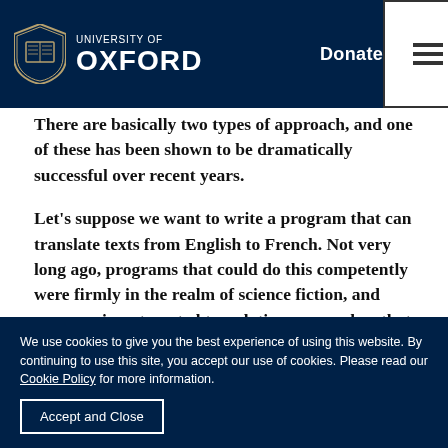University of Oxford | Donate | [menu]
ent behaviour?
There are basically two types of approach, and one of these has been shown to be dramatically successful over recent years.
Let’s suppose we want to write a program that can translate texts from English to French. Not very long ago, programs that could do this competently were firmly in the realm of science fiction, and progress in automated translation was so slow that it was something of a cruel inside joke for the AI community.
We use cookies to give you the best experience of using this website. By continuing to use this site, you accept our use of cookies. Please read our Cookie Policy for more information.
Accept and Close